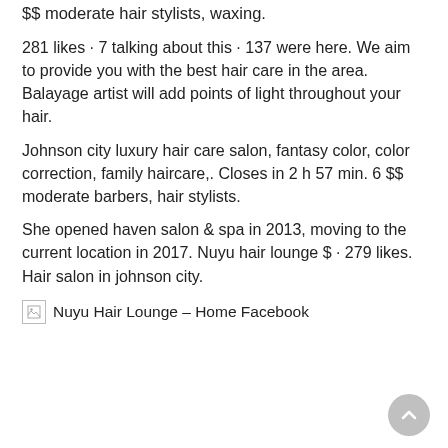$$ moderate hair stylists, waxing.
281 likes · 7 talking about this · 137 were here. We aim to provide you with the best hair care in the area. Balayage artist will add points of light throughout your hair.
Johnson city luxury hair care salon, fantasy color, color correction, family haircare,. Closes in 2 h 57 min. 6 $$ moderate barbers, hair stylists.
She opened haven salon & spa in 2013, moving to the current location in 2017. Nuyu hair lounge $ · 279 likes. Hair salon in johnson city.
[Figure (other): Broken image icon (small thumbnail with error indicator)]
Nuyu Hair Lounge – Home Facebook